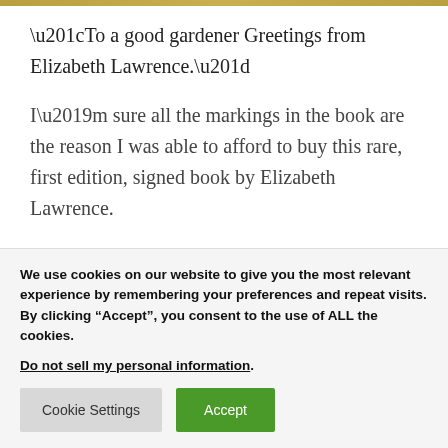“To a good gardener Greetings from Elizabeth Lawrence.”
I’m sure all the markings in the book are the reason I was able to afford to buy this rare, first edition, signed book by Elizabeth Lawrence.
I’ll take those markings, a sign of a gardening
We use cookies on our website to give you the most relevant experience by remembering your preferences and repeat visits. By clicking “Accept”, you consent to the use of ALL the cookies.
Do not sell my personal information.